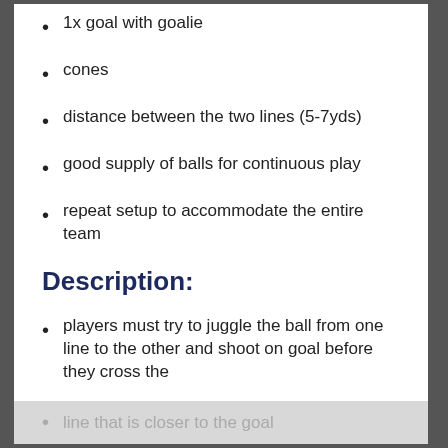1x goal with goalie
cones
distance between the two lines (5-7yds)
good supply of balls for continuous play
repeat setup to accommodate the entire team
Description:
players must try to juggle the ball from one line to the other and shoot on goal before they cross the
line that is closer to the goal